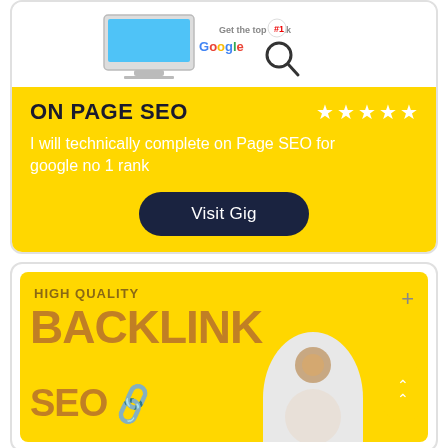[Figure (illustration): SEO illustration with computer monitor and 'Get the top Rank #1 on Google' text with magnifying glass]
ON PAGE SEO
[Figure (illustration): Five white star rating icons]
I will technically complete on Page SEO for google no 1 rank
Visit Gig
[Figure (illustration): HIGH QUALITY BACKLINK SEO card with person image and chain link icon]